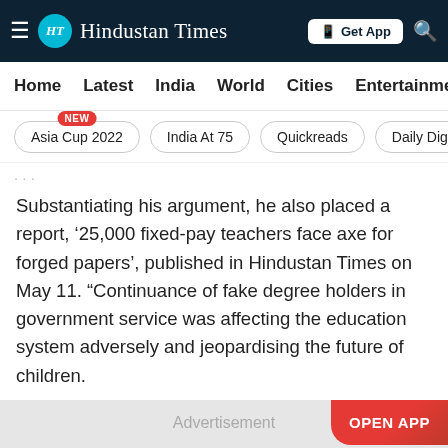Hindustan Times
Home   Latest   India   World   Cities   Entertainment
Asia Cup 2022  NEW
India At 75
Quickreads
Daily Dige
Substantiating his argument, he also placed a report, ‘25,000 fixed-pay teachers face axe for forged papers’, published in Hindustan Times on May 11. "Continuance of fake degree holders in government service was affecting the education system adversely and jeopardising the future of children.
[Figure (other): Advertisement placeholder area with 'Advertisement' label and 'OPEN APP' button]